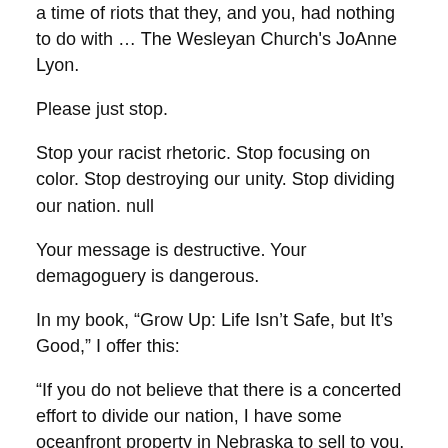a time of riots that they, and you, had nothing to do with … The Wesleyan Church's JoAnne Lyon.
Please just stop.
Stop your racist rhetoric. Stop focusing on color. Stop destroying our unity. Stop dividing our nation. null
Your message is destructive. Your demagoguery is dangerous.
In my book, “Grow Up: Life Isn’t Safe, but It’s Good,” I offer this:
“If you do not believe that there is a concerted effort to divide our nation, I have some oceanfront property in Nebraska to sell to you. Our intelligentsia — our country’s cultural and religious elites — think that if they can get